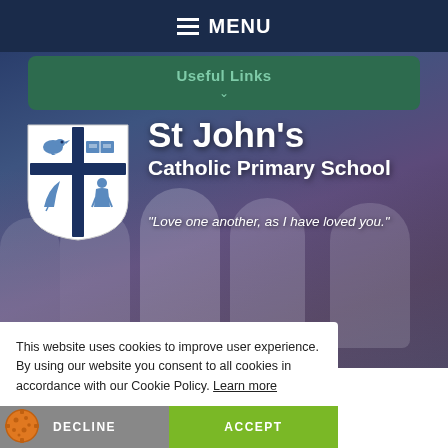MENU
Useful Links
[Figure (photo): School website hero image showing children dressed in white First Communion dresses, background blurred, overlaid with school logo and name.]
St John's Catholic Primary School
"Love one another, as I have loved you."
This website uses cookies to improve user experience. By using our website you consent to all cookies in accordance with our Cookie Policy. Learn more
DECLINE
ACCEPT